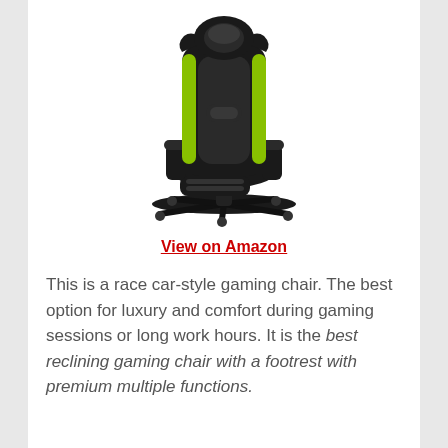[Figure (photo): A race car-style gaming chair with black and green accents, featuring a reclining back, padded armrests, headrest pillow, lumbar support, and an extended footrest, on a five-star wheeled base.]
View on Amazon
This is a race car-style gaming chair. The best option for luxury and comfort during gaming sessions or long work hours. It is the best reclining gaming chair with a footrest with premium multiple functions.